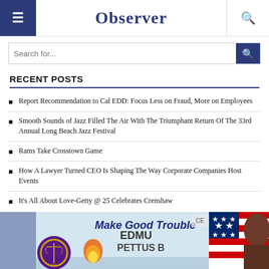Observer
Search for...
RECENT POSTS
Report Recommendation to Cal EDD: Focus Less on Fraud, More on Employees
Smooth Sounds of Jazz Filled The Air With The Triumphant Return Of The 33rd Annual Long Beach Jazz Festival
Rams Take Crosstown Game
How A Lawyer Turned CEO Is Shaping The Way Corporate Companies Host Events
It's All About Love-Getty @ 25 Celebrates Crenshaw
[Figure (photo): Banner image with text 'Make Good Trouble', showing logos, Edmund Pettus Bridge sign, American flag, and a person's face on the right side.]